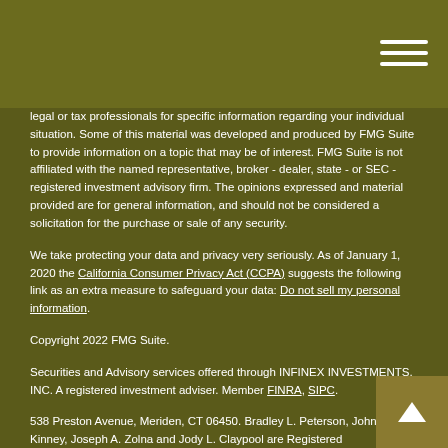legal or tax professionals for specific information regarding your individual situation. Some of this material was developed and produced by FMG Suite to provide information on a topic that may be of interest. FMG Suite is not affiliated with the named representative, broker - dealer, state - or SEC - registered investment advisory firm. The opinions expressed and material provided are for general information, and should not be considered a solicitation for the purchase or sale of any security.
We take protecting your data and privacy very seriously. As of January 1, 2020 the California Consumer Privacy Act (CCPA) suggests the following link as an extra measure to safeguard your data: Do not sell my personal information.
Copyright 2022 FMG Suite.
Securities and Advisory services offered through INFINEX INVESTMENTS, INC. A registered investment adviser. Member FINRA, SIPC.
538 Preston Avenue, Meriden, CT 06450. Bradley L. Peterson, John P. Kinney, Joseph A. Zolna and Jody L. Claypool are Registered Representatives of Infinex Investments, Inc.
Investment products and services are available only to residents of Florida (FL), Maryland (MD), Nevada (NV), Pennsylvania (PA), South Carolina (SC), Texas (TX), Virginia (VA). This is not an offer or solicitation of sale in any other state. Fee-based investment advisory services are available only to residents of Pennsylvania (PA).